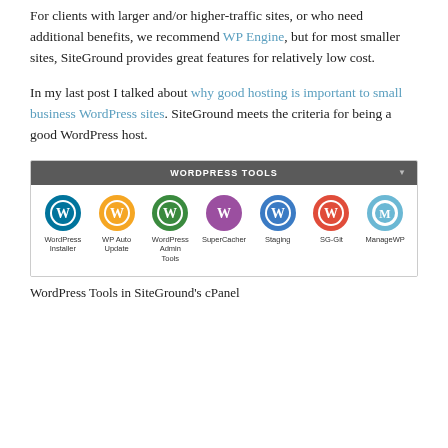For clients with larger and/or higher-traffic sites, or who need additional benefits, we recommend WP Engine, but for most smaller sites, SiteGround provides great features for relatively low cost.
In my last post I talked about why good hosting is important to small business WordPress sites. SiteGround meets the criteria for being a good WordPress host.
[Figure (screenshot): Screenshot of WordPress Tools panel in SiteGround's cPanel showing icons for: WordPress Installer, WP Auto Update, WordPress Admin Tools, SuperCacher, Staging, SG-Git, ManageWP]
WordPress Tools in SiteGround's cPanel